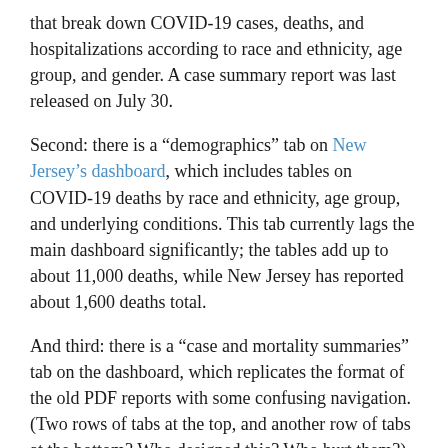that break down COVID-19 cases, deaths, and hospitalizations according to race and ethnicity, age group, and gender. A case summary report was last released on July 30.
Second: there is a “demographics” tab on New Jersey’s dashboard, which includes tables on COVID-19 deaths by race and ethnicity, age group, and underlying conditions. This tab currently lags the main dashboard significantly; the tables add up to about 11,000 deaths, while New Jersey has reported about 1,600 deaths total.
And third: there is a “case and mortality summaries” tab on the dashboard, which replicates the format of the old PDF reports with some confusing navigation. (Two rows of tabs at the top, and another row of tabs at the bottom? Who designed this? Who hurt them?)